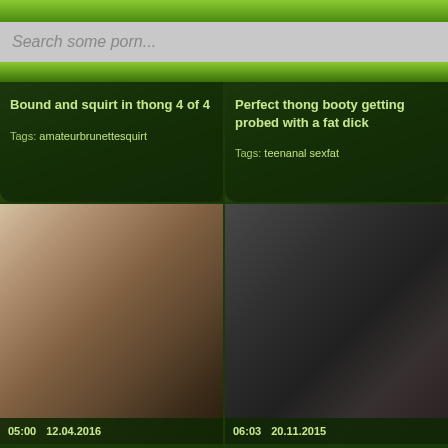Search some porn...
Bound and squirt in thong 4 of 4
Tags: amateurbrunettesquirt
Perfect thong booty getting probed with a fat dick
Tags: teenanal sexfat
[Figure (photo): Adult content thumbnail - left bottom]
[Figure (photo): Adult content thumbnail - right bottom]
05:00   12.04.2016
06:03   20.11.2015